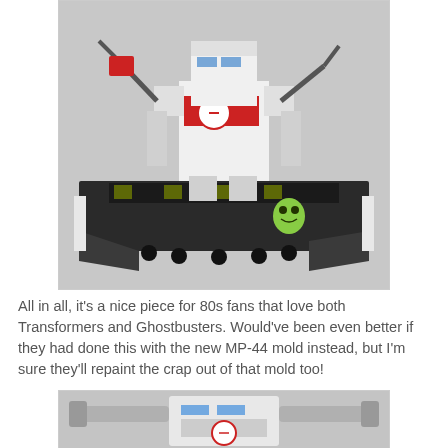[Figure (photo): A toy figure of Optimus Prime (Transformers) repainted in white and red Ghostbusters Ecto-1 colors, standing on a large black vehicle/platform with hazard stripes, a small green Slimer figure, and ramp-like extensions, photographed against a light gray background.]
All in all, it's a nice piece for 80s fans that love both Transformers and Ghostbusters. Would've been even better if they had done this with the new MP-44 mold instead, but I'm sure they'll repaint the crap out of that mold too!
[Figure (photo): Close-up partial view of another Transformers/Ghostbusters toy robot figure, showing head and upper body with white and gray coloring, Ghostbusters logo on chest, and articulated arms.]